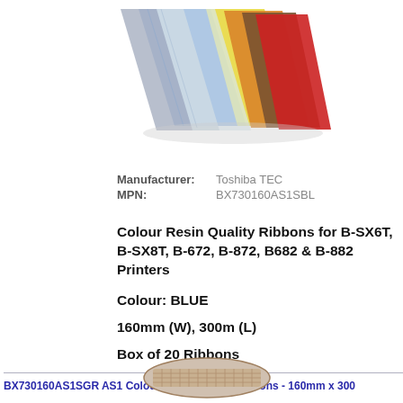[Figure (photo): Product photo of colorful thermal transfer ribbons fanned out showing multiple colors including blue, silver, yellow, orange, brown, red, and clear films]
Manufacturer: Toshiba TEC
MPN: BX730160AS1SBL
Colour Resin Quality Ribbons for B-SX6T, B-SX8T, B-672, B-872, B682 & B-882 Printers
Colour: BLUE
160mm (W), 300m (L)
Box of 20 Ribbons
BX730160AS1SGR AS1 Colour Resin Quality Ribbons - 160mm x 300
[Figure (photo): Product photo of a ribbon roll/spool at the bottom of the page]